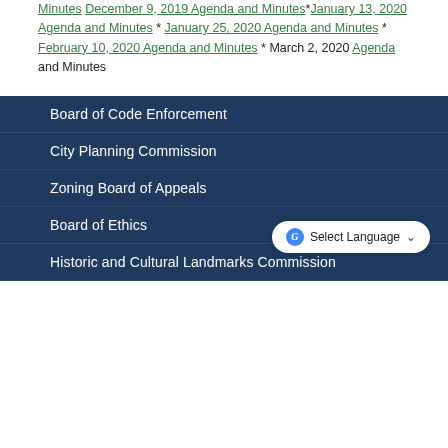Minutes* December 9, 2019 Agenda and Minutes*January 13, 2020 Agenda and Minutes * January 25, 2020 Agenda and Minutes * February 10, 2020 Agenda and Minutes * March 2, 2020 Agenda and Minutes
Board of Code Enforcement
City Planning Commission
Zoning Board of Appeals
Board of Ethics
Historic and Cultural Landmarks Commission